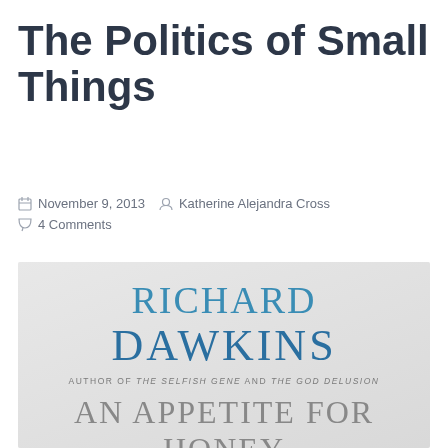The Politics of Small Things
November 9, 2013  Katherine Alejandra Cross
4 Comments
[Figure (photo): Book cover of 'An Appetite for Honey' by Richard Dawkins, author of The Selfish Gene and The God Delusion. The cover shows RICHARD DAWKINS in large teal letters, followed by 'AN APPETITE FOR HONEY' in large grey serif text, on a light grey background.]